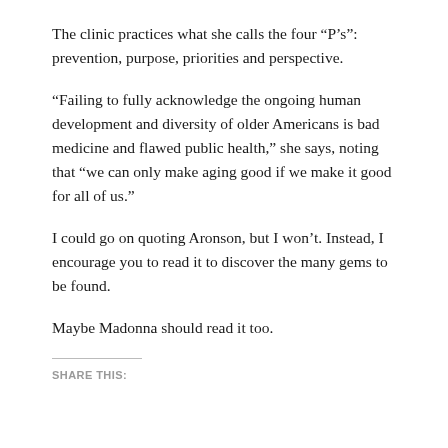The clinic practices what she calls the four “P’s”: prevention, purpose, priorities and perspective.
“Failing to fully acknowledge the ongoing human development and diversity of older Americans is bad medicine and flawed public health,” she says, noting that “we can only make aging good if we make it good for all of us.”
I could go on quoting Aronson, but I won’t. Instead, I encourage you to read it to discover the many gems to be found.
Maybe Madonna should read it too.
SHARE THIS: